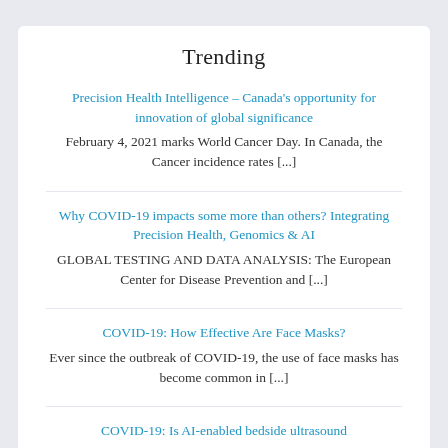Trending
Precision Health Intelligence – Canada's opportunity for innovation of global significance
February 4, 2021 marks World Cancer Day. In Canada, the Cancer incidence rates [...]
Why COVID-19 impacts some more than others? Integrating Precision Health, Genomics & AI
GLOBAL TESTING AND DATA ANALYSIS: The European Center for Disease Prevention and [...]
COVID-19: How Effective Are Face Masks?
Ever since the outbreak of COVID-19, the use of face masks has become common in [...]
COVID-19: Is AI-enabled bedside ultrasound